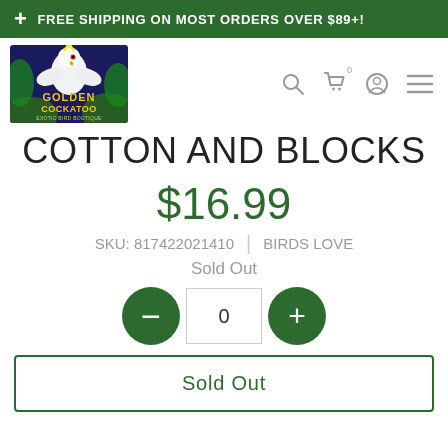+ FREE SHIPPING ON MOST ORDERS OVER $89+!
[Figure (logo): Golden Cockatoo Exotic Bird Boutique logo — white cockatoo on dark blue/green background with yellow/green text]
COTTON AND BLOCKS
$16.99
SKU: 817422021410 | BIRDS LOVE
Sold Out
0
Sold Out